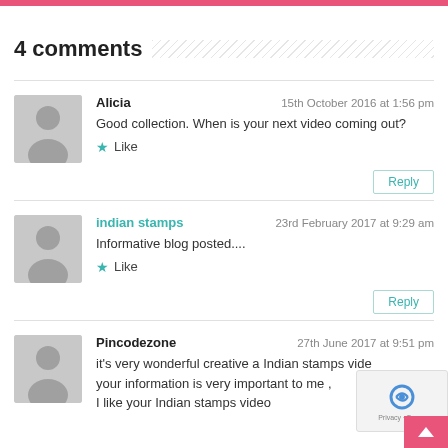4 comments
Alicia   15th October 2016 at 1:56 pm
Good collection. When is your next video coming out?
★ Like
Reply
indian stamps   23rd February 2017 at 9:29 am
Informative blog posted....
★ Like
Reply
Pincodezone   27th June 2017 at 9:51 pm
it's very wonderful creative a Indian stamps video
your information is very important to me ,
I like your Indian stamps video